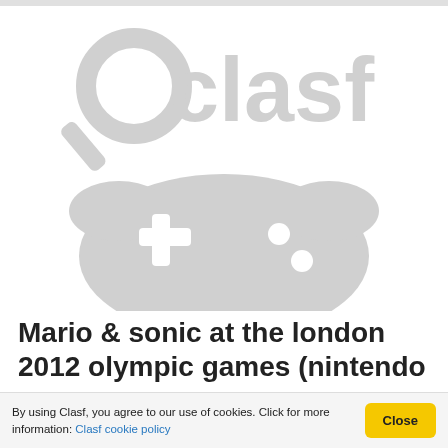[Figure (logo): Clasf logo (magnifying glass + 'clasf' text) and a game controller silhouette, both in light grey, serving as a product image placeholder]
Mario & sonic at the london 2012 olympic games (nintendo
South Africa
Mario & Sonic at the london 2012 Olympic G...
By using Clasf, you agree to our use of cookies. Click for more information: Clasf cookie policy